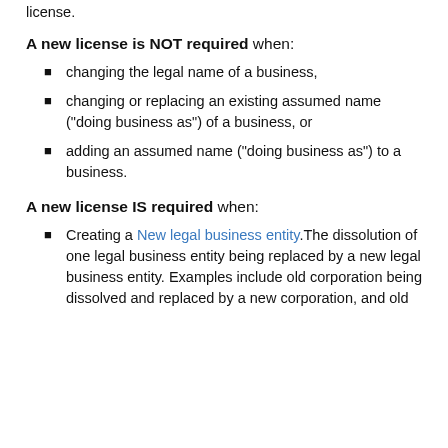license.
A new license is NOT required when:
changing the legal name of a business,
changing or replacing an existing assumed name ("doing business as") of a business, or
adding an assumed name ("doing business as") to a business.
A new license IS required when:
Creating a New legal business entity.The dissolution of one legal business entity being replaced by a new legal business entity. Examples include old corporation being dissolved and replaced by a new corporation, and old